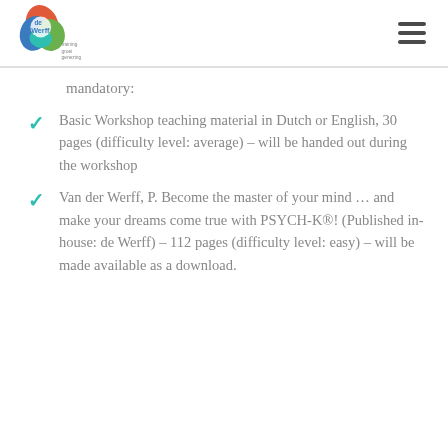de Werff training groei genezing
mandatory:
Basic Workshop teaching material in Dutch or English, 30 pages (difficulty level: average) – will be handed out during the workshop
Van der Werff, P. Become the master of your mind … and make your dreams come true with PSYCH-K®! (Published in-house: de Werff) – 112 pages (difficulty level: easy) – will be made available as a download.